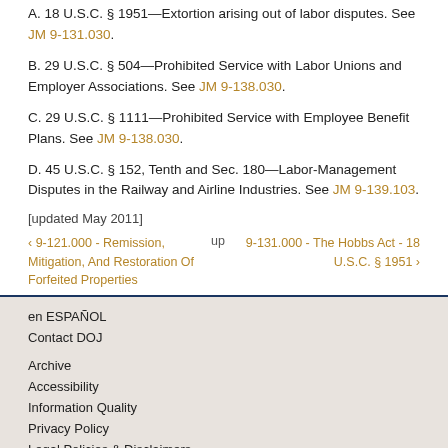A. 18 U.S.C. § 1951—Extortion arising out of labor disputes. See JM 9-131.030.
B. 29 U.S.C. § 504—Prohibited Service with Labor Unions and Employer Associations. See JM 9-138.030.
C. 29 U.S.C. § 1111—Prohibited Service with Employee Benefit Plans. See JM 9-138.030.
D. 45 U.S.C. § 152, Tenth and Sec. 180—Labor-Management Disputes in the Railway and Airline Industries. See JM 9-139.103.
[updated May 2011]
‹ 9-121.000 - Remission, Mitigation, And Restoration Of Forfeited Properties   up   9-131.000 - The Hobbs Act - 18 U.S.C. § 1951 ›
en ESPAÑOL
Contact DOJ

Archive
Accessibility
Information Quality
Privacy Policy
Legal Policies & Disclaimers